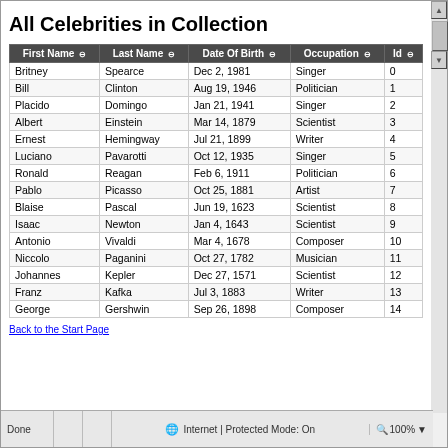All Celebrities in Collection
| First Name | Last Name | Date Of Birth | Occupation | Id |
| --- | --- | --- | --- | --- |
| Britney | Spearce | Dec 2, 1981 | Singer | 0 |
| Bill | Clinton | Aug 19, 1946 | Politician | 1 |
| Placido | Domingo | Jan 21, 1941 | Singer | 2 |
| Albert | Einstein | Mar 14, 1879 | Scientist | 3 |
| Ernest | Hemingway | Jul 21, 1899 | Writer | 4 |
| Luciano | Pavarotti | Oct 12, 1935 | Singer | 5 |
| Ronald | Reagan | Feb 6, 1911 | Politician | 6 |
| Pablo | Picasso | Oct 25, 1881 | Artist | 7 |
| Blaise | Pascal | Jun 19, 1623 | Scientist | 8 |
| Isaac | Newton | Jan 4, 1643 | Scientist | 9 |
| Antonio | Vivaldi | Mar 4, 1678 | Composer | 10 |
| Niccolo | Paganini | Oct 27, 1782 | Musician | 11 |
| Johannes | Kepler | Dec 27, 1571 | Scientist | 12 |
| Franz | Kafka | Jul 3, 1883 | Writer | 13 |
| George | Gershwin | Sep 26, 1898 | Composer | 14 |
Back to the Start Page
Done    Internet | Protected Mode: On    100%